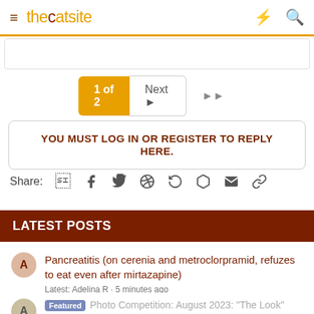thecatsite
1 of 2  Next  ▶▶
YOU MUST LOG IN OR REGISTER TO REPLY HERE.
Share: [social icons]
LATEST POSTS
Pancreatitis (on cerenia and metroclorpramid, refuzes to eat even after mirtazapine)
Latest: Adelina R · 5 minutes ago
Cat Health
Featured  Photo Competition: August 2023: "The Look"